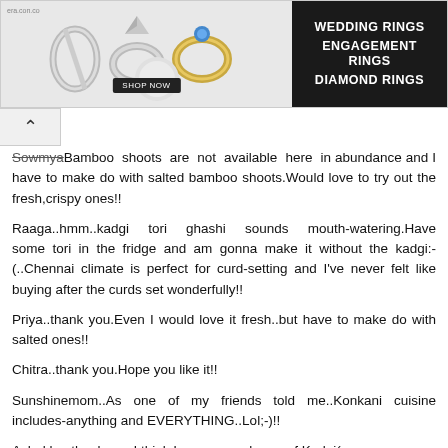[Figure (photo): Advertisement banner for wedding rings, engagement rings, and diamond rings. Shows ring images on the left and text on dark background on the right.]
SowmyaBamboo shoots are not available here in abundance and I have to make do with salted bamboo shoots.Would love to try out the fresh,crispy ones!!
Raaga..hmm..kadgi tori ghashi sounds mouth-watering.Have some tori in the fridge and am gonna make it without the kadgi:-(..Chennai climate is perfect for curd-setting and I've never felt like buying after the curds set wonderfully!!
Priya..thank you.Even I would love it fresh..but have to make do with salted ones!!
Chitra..thank you.Hope you like it!!
Sunshinemom..As one of my friends told me..Konkani cuisine includes-anything and EVERYTHING..Lol;-)!!
Ashakka..thank you.I think I am gonna dream of Kadgi(raw